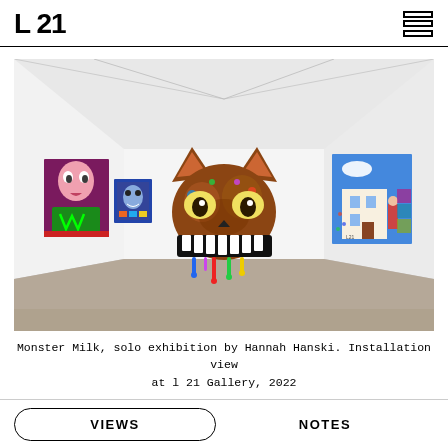L21
[Figure (photo): Installation view of a gallery room with white walls and concrete floor. Three textile/rug artworks hang on the walls. Center: large colorful cat face with big eyes and sharp teeth. Left wall: a figure with green monster energy can motifs, and a smaller dark piece. Right wall: a colorful urban scene artwork.]
Monster Milk, solo exhibition by Hannah Hanski. Installation view at l 21 Gallery, 2022
VIEWS
NOTES